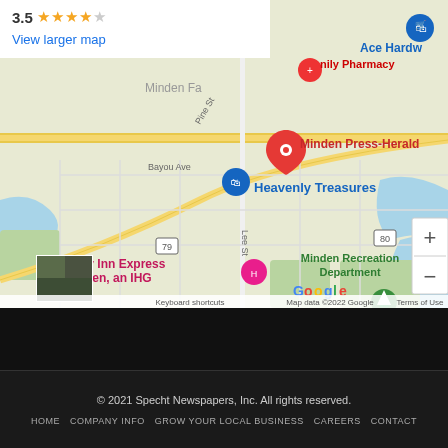[Figure (screenshot): Google Maps screenshot showing Minden, Louisiana area with red pin on Minden Press-Herald, nearby locations including Minden Family Pharmacy, Heavenly Treasures, Ace Hardware, Minden Recreation Department, Holiday Inn Express Minden an IHG. Map shows roads including highway 79 and 80. Rating overlay shows 3.5 stars with 'View larger map' link. Map attribution: Map data ©2022 Google. Keyboard shortcuts and Terms of Use links shown.]
© 2021 Specht Newspapers, Inc. All rights reserved.
HOME  COMPANY INFO  GROW YOUR LOCAL BUSINESS  CAREERS  CONTACT